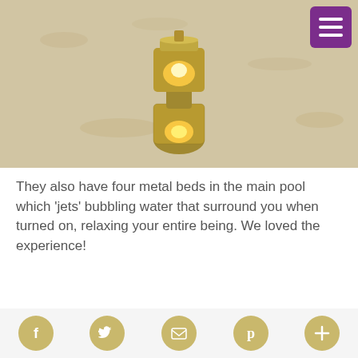[Figure (photo): A golden cylindrical lantern/candle holder on a sandy surface, glowing warmly from inside]
They also have four metal beds in the main pool which ‘jets’ bubbling water that surround you when turned on, relaxing your entire being. We loved the experience!
[Figure (photo): Dark interior of what appears to be a covered pool area at night with blue lighting on the right side and a bright light in the ceiling center]
Social media icons: Facebook, Twitter, Email/Newsletter, Pinterest, More